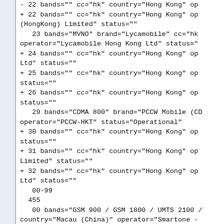- 22 bands="" cc="hk" country="Hong Kong" op
+ 22 bands="" cc="hk" country="Hong Kong" op
(HongKong) Limited" status=""
   23 bands="MVNO" brand="Lycamobile" cc="hk"
operator="Lycamobile Hong Kong Ltd" status=""
+ 24 bands="" cc="hk" country="Hong Kong" ope
Ltd" status=""
+ 25 bands="" cc="hk" country="Hong Kong" ope
status=""
+ 26 bands="" cc="hk" country="Hong Kong" ope
status=""
   29 bands="CDMA 800" brand="PCCW Mobile (CDM
operator="PCCW-HKT" status="Operational"
+ 30 bands="" cc="hk" country="Hong Kong" ope
status=""
+ 31 bands="" cc="hk" country="Hong Kong" ope
Limited" status=""
+ 32 bands="" cc="hk" country="Hong Kong" ope
Ltd" status=""
   00-99
  455
   00 bands="GSM 900 / GSM 1800 / UMTS 2100 /
country="Macau (China)" operator="Smartone -
status="Operational"
   01 bands="GSM 900 / GSM 1800 / LTE 1800" b
(China)" operator="Companhia de Telecomunica
status="Operational"
   02 bands="CDMA 800" brand="China Telecom"
operator="China Telecom (Macau) Company Limi
- 03 bands="GSM 900 / GSM 1800 / LTE 1800" b